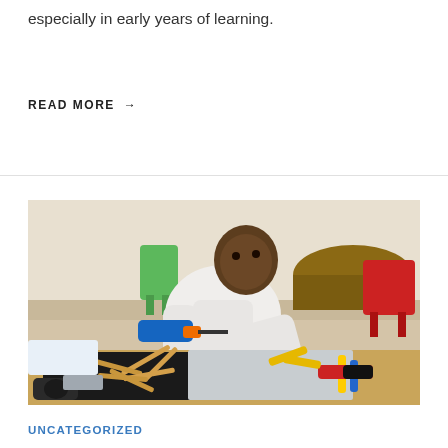especially in early years of learning.
READ MORE →
[Figure (photo): A young boy using a hot glue gun to assemble wooden sticks on a white board, working at a table covered with various craft tools including pliers, cutters, and craft sticks. A green chair, red chair, and circular table are visible in the background.]
UNCATEGORIZED